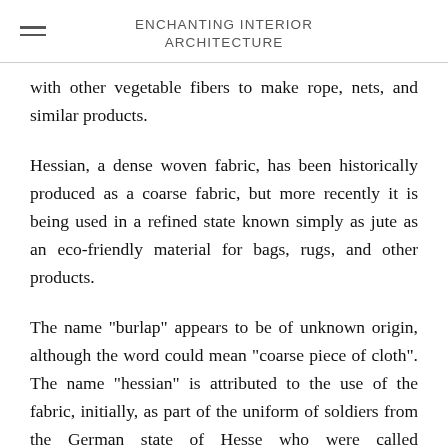ENCHANTING INTERIOR ARCHITECTURE
with other vegetable fibers to make rope, nets, and similar products.
Hessian, a dense woven fabric, has been historically produced as a coarse fabric, but more recently it is being used in a refined state known simply as jute as an eco-friendly material for bags, rugs, and other products.
The name "burlap" appears to be of unknown origin, although the word could mean "coarse piece of cloth". The name "hessian" is attributed to the use of the fabric, initially, as part of the uniform of soldiers from the German state of Hesse who were called "Hessians".